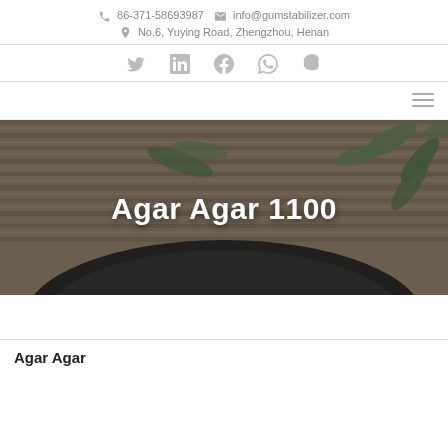86-371-58693987  info@gumstabilizer.com  No.6, Yuying Road, Zhengzhou, Henan
[Figure (infographic): Social media icons row: Twitter, LinkedIn, Facebook, WhatsApp, Skype]
[Figure (photo): Hero banner image with dark wood texture background and green leaves, with bold white text 'Agar Agar 1100' overlaid, and a dark circular plate visible at the bottom]
Agar Agar 1100
Agar Agar